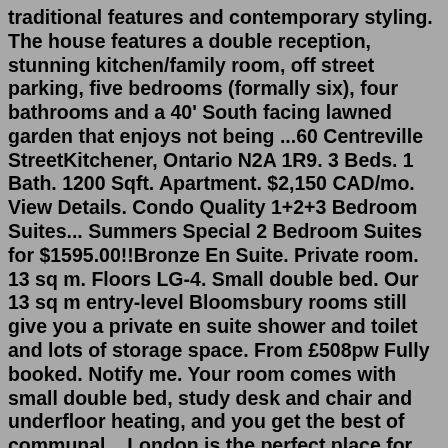traditional features and contemporary styling. The house features a double reception, stunning kitchen/family room, off street parking, five bedrooms (formally six), four bathrooms and a 40' South facing lawned garden that enjoys not being ...60 Centreville StreetKitchener, Ontario N2A 1R9. 3 Beds. 1 Bath. 1200 Sqft. Apartment. $2,150 CAD/mo. View Details. Condo Quality 1+2+3 Bedroom Suites... Summers Special 2 Bedroom Suites for $1595.00!!Bronze En Suite. Private room. 13 sq m. Floors LG-4. Small double bed. Our 13 sq m entry-level Bloomsbury rooms still give you a private en suite shower and toilet and lots of storage space. From £508pw Fully booked. Notify me. Your room comes with small double bed, study desk and chair and underfloor heating, and you get the best of communal ...London is the perfect place for you to enjoy your university experience to the full. This central London student accommodation provides student flats near Waterloo station and Southwark underground station. Our student rooms come with double or small double beds, with...